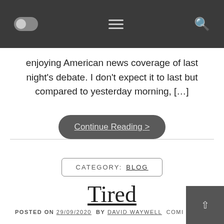Navigation bar with toggle, menu, and search icons
enjoying American news coverage of last night's debate. I don't expect it to last but compared to yesterday morning, […]
Continue Reading >
CATEGORY: BLOG
Tired
POSTED ON 29/09/2020 BY DAVID WAYWELL COMI…